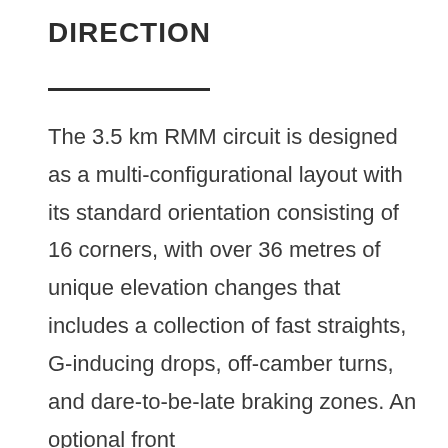DIRECTION
The 3.5 km RMM circuit is designed as a multi-configurational layout with its standard orientation consisting of 16 corners, with over 36 metres of unique elevation changes that includes a collection of fast straights, G-inducing drops, off-camber turns, and dare-to-be-late braking zones. An optional front